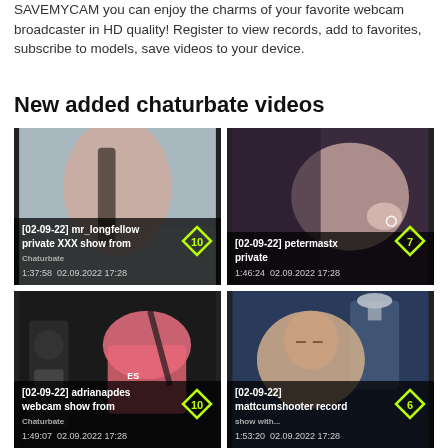SAVEMYCAM you can enjoy the charms of your favorite webcam broadcaster in HD quality! Register to view records, add to favorites, subscribe to models, save videos to your device.
New added chaturbate videos
[Figure (screenshot): Video thumbnail 1: [02-09-22] mr_longfellow private XXX show from Chaturbate. Duration 1:37:58, date 02.09.2022 17:28, rating badge 10]
[Figure (screenshot): Video thumbnail 2: [02-09-22] petermastx private. Duration 1:46:24, date 02.09.2022 17:28, rating badge 7]
[Figure (screenshot): Video thumbnail 3: [02-09-22] adrianapdes webcam show from Chaturbate. Duration 1:49:07, date 02.09.2022 17:28, rating badge 10]
[Figure (screenshot): Video thumbnail 4: [02-09-22] mattcumshooter record. Duration 1:53:20, date 02.09.2022 17:28, rating badge 6]